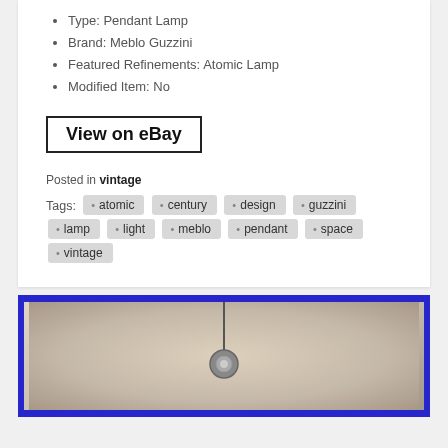Type: Pendant Lamp
Brand: Meblo Guzzini
Featured Refinements: Atomic Lamp
Modified Item: No
View on eBay
Posted in vintage
Tags: atomic century design guzzini lamp light meblo pendant space vintage
[Figure (photo): Blurred photograph of a pendant lamp with a blue border frame, showing a hanging lamp fixture against a light background]